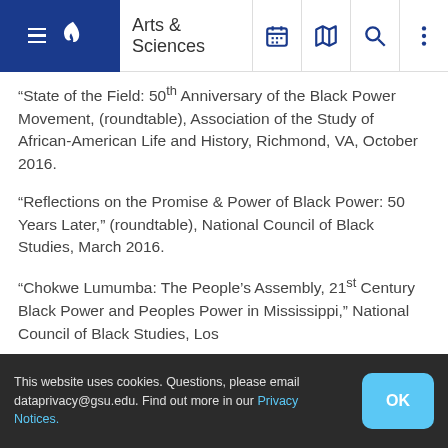Arts & Sciences
"State of the Field: 50th Anniversary of the Black Power Movement, (roundtable), Association of the Study of African-American Life and History, Richmond, VA, October 2016.
"Reflections on the Promise & Power of Black Power: 50 Years Later," (roundtable), National Council of Black Studies, March 2016.
"Chokwe Lumumba: The People's Assembly, 21st Century Black Power and Peoples Power in Mississippi," National Council of Black Studies, Los
This website uses cookies. Questions, please email dataprivacy@gsu.edu. Find out more in our Privacy Notices.